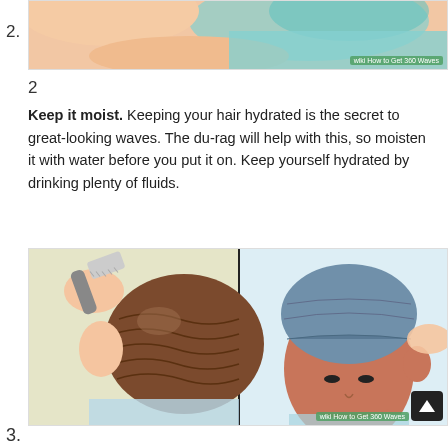[Figure (illustration): Top portion of step 2 illustration showing hands and hair brushing/du-rag with WikiHow watermark 'How to Get 360 Waves']
2
Keep it moist. Keeping your hair hydrated is the secret to great-looking waves. The du-rag will help with this, so moisten it with water before you put it on. Keep yourself hydrated by drinking plenty of fluids.
[Figure (illustration): Split illustration showing left side: a brush being used on a head with waves pattern visible; right side: person wearing a grey/blue du-rag. WikiHow watermark 'How to Get 360 Waves']